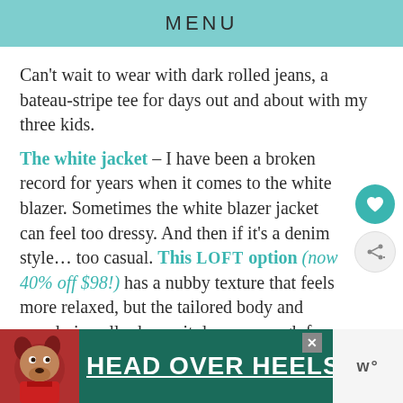MENU
Can't wait to wear with dark rolled jeans, a bateau-stripe tee for days out and about with my three kids.
The white jacket – I have been a broken record for years when it comes to the white blazer. Sometimes the white blazer jacket can feel too dressy. And then if it's a denim style… too casual. This LOFT option (now 40% off $98!) has a nubby texture that feels more relaxed, but the tailored body and mandarin collar keeps it dressy enough for work.
[Figure (photo): Advertisement banner with dog photo and text HEAD OVER HEELS on dark green background]